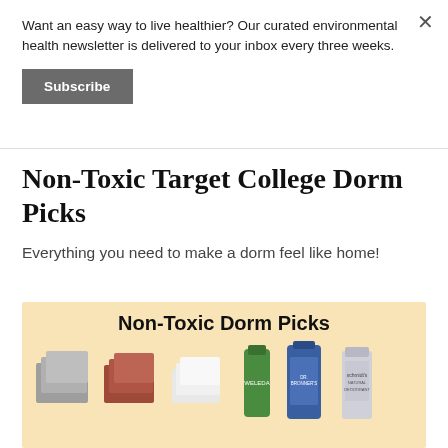Want an easy way to live healthier? Our curated environmental health newsletter is delivered to your inbox every three weeks.
Subscribe
Non-Toxic Target College Dorm Picks
Everything you need to make a dorm feel like home!
[Figure (illustration): Non-Toxic Dorm Picks product banner on peach/cream background showing various dorm products: gray sheet set, rust/terracotta sheet set, white towels, green Weleda body wash tube, blue Dr. Bronner's soap bottle, Schmidt's deodorant stick]